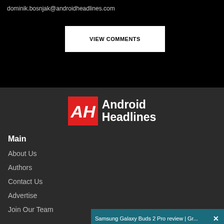dominik.bosnjak@androidheadlines.com
VIEW COMMENTS
[Figure (logo): Android Headlines logo — red AH box with Android Headlines text in white]
Main
About Us
Authors
Contact Us
Advertise
Join Our Team
[Figure (screenshot): Video overlay showing Samsung Galaxy Buds 2 Pro review from Digital Trends with title bar 'Samsung Galaxy Buds 2 Pro review | Gr... X' and video thumbnail with large white text GALAXY BUDS 2 PRO, muted icon, and a man holding earbuds]